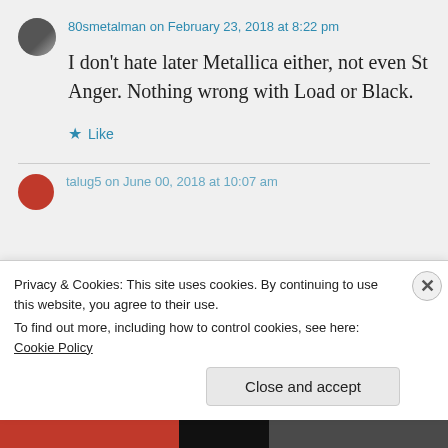80smetalman on February 23, 2018 at 8:22 pm
I don't hate later Metallica either, not even St Anger. Nothing wrong with Load or Black.
Like
talug5 on June 00, 2018 at 10:07 am
Privacy & Cookies: This site uses cookies. By continuing to use this website, you agree to their use.
To find out more, including how to control cookies, see here: Cookie Policy